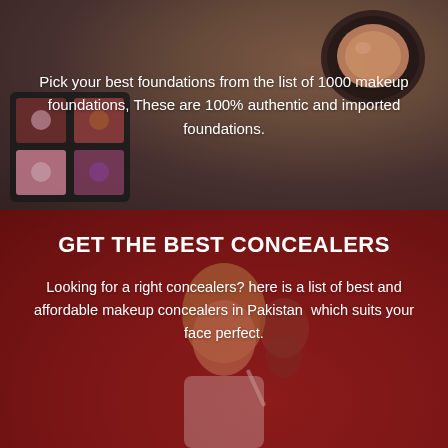[Figure (photo): Top half: photo of makeup products including an eyeshadow palette on the left and a round compact powder/foundation on the right, with dark and warm-toned background. Muted overlay.]
Pick your best foundations from the list of 1000 makeup foundations, These are 100% authentic and imported foundations.
[Figure (photo): Bottom half: photo of a woman with curly blonde hair applying makeup/concealer in front of a red background, with another person partially visible behind her.]
GET THE BEST CONCEALERS
Looking for a right concealers? here is a list of best and affordable makeup concealers in Pakistan  which suits your face perfect.